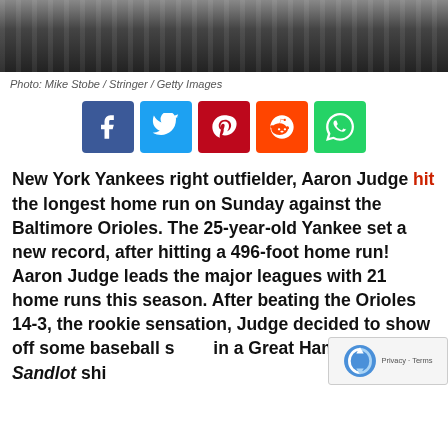[Figure (photo): Cropped photo of a baseball player in pinstripe Yankees uniform, showing the upper chest and lower face area against a dark background.]
Photo: Mike Stobe / Stringer / Getty Images
[Figure (infographic): Social media share buttons: Facebook (blue), Twitter (light blue), Pinterest (red), Reddit (orange), WhatsApp (green)]
New York Yankees right outfielder, Aaron Judge hit the longest home run on Sunday against the Baltimore Orioles. The 25-year-old Yankee set a new record, after hitting a 496-foot home run! Aaron Judge leads the major leagues with 21 home runs this season. After beating the Orioles 14-3, the rookie sensation, Judge decided to show off some baseball skills in a Great Hambino, The Sandlot shirt.